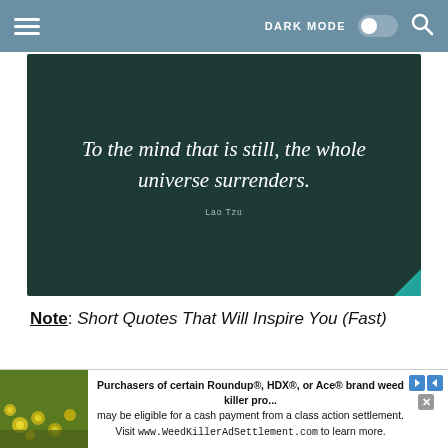DARK MODE [toggle] [search]
[Figure (illustration): Dark teal/green background image with white cursive script quote: 'To the mind that is still, the whole universe surrenders.' and attribution 'Lao Tzu' in small text below. Page curl effect in bottom-right corner.]
Note: Short Quotes That Will Inspire You (Fast)
know but one freedom and that is the freedom of
[Figure (photo): Advertisement banner with yellow flowers on dark background on the left, and text: 'Purchasers of certain Roundup®, HDX®, or Ace® brand weed killer pro... may be eligible for a cash payment from a class action settlement. Visit www.WeedKillerAdSettlement.com to learn more.' with arrow and close buttons.]